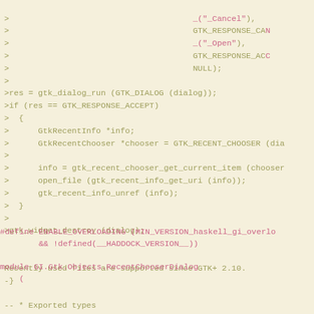>                                      _("_Cancel"),
>                                      GTK_RESPONSE_CA
>                                      _("_Open"),
>                                      GTK_RESPONSE_AC
>                                      NULL);
>
>res = gtk_dialog_run (GTK_DIALOG (dialog));
>if (res == GTK_RESPONSE_ACCEPT)
>  {
>      GtkRecentInfo *info;
>      GtkRecentChooser *chooser = GTK_RECENT_CHOOSER (dia
>
>      info = gtk_recent_chooser_get_current_item (chooser
>      open_file (gtk_recent_info_get_uri (info));
>      gtk_recent_info_unref (info);
>  }
>
>gtk_widget_destroy (dialog);


Recently used files are supported since GTK+ 2.10.
-}
#define ENABLE_OVERLOADING (MIN_VERSION_haskell_gi_overlo
        && !defined(__HADDOCK_VERSION__))
module GI.Gtk.Objects.RecentChooserDialog
    (
-- * Exported types